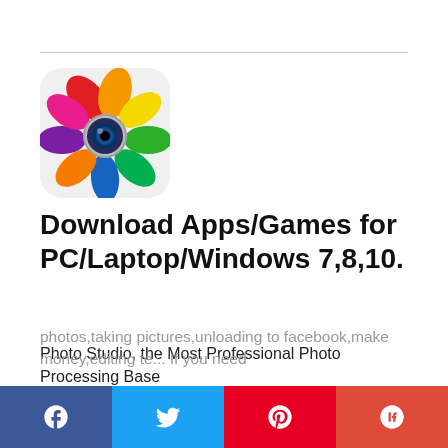[Figure (logo): Photo Studio app icon — colorful flower petals (red, orange, yellow, green, blue, purple, pink) arranged around a camera lens, on a light grey rounded rectangle background.]
Download Apps/Games for PC/Laptop/Windows 7,8,10.
Photo Studio, the Most Professional Photo Processing Base
Photo Studio APK helps you make my photos,taking pictures,unloading to facebook,make money,editing te... If you need
[Figure (infographic): Social sharing bar with Facebook, Twitter, Pinterest, and Google+ icons]